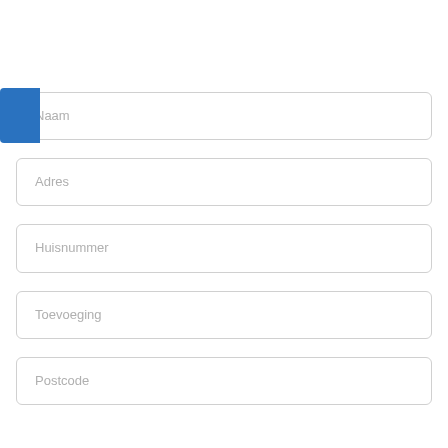Naam
Adres
Huisnummer
Toevoeging
Postcode